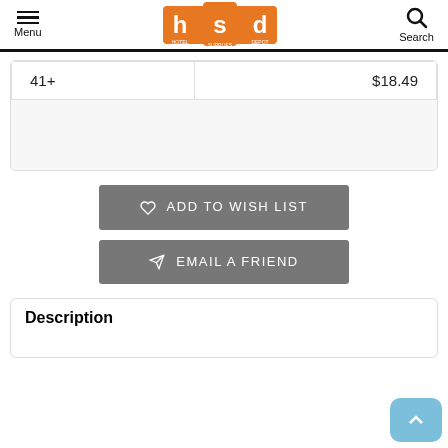Menu | hsd Hotel Supplies Depot | Search
| Qty | Price |
| --- | --- |
| 41+ | $18.49 |
ADD TO WISH LIST
EMAIL A FRIEND
Description